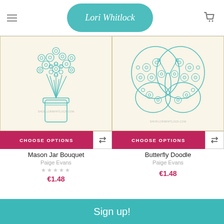Lori Whitlock
[Figure (illustration): Teal line drawing of a mason jar bouquet with daisy flowers on a cream/tan bordered square background. Watermark: SHOP.LORIWHITLOCK.COM]
CHOOSE OPTIONS
Mason Jar Bouquet
Paige Evans
★★★★★
€1.48
[Figure (illustration): Teal line drawing of a butterfly made of floral/daisy patterns on a cream/tan bordered square background. Watermark: SHOP.LORIWHITLOCK.COM]
CHOOSE OPTIONS
Butterfly Doodle
Paige Evans
€1.48
Sign up!